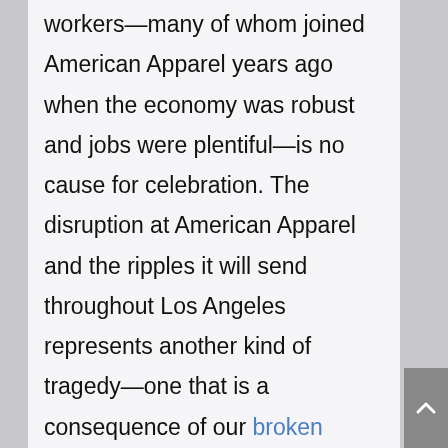workers—many of whom joined American Apparel years ago when the economy was robust and jobs were plentiful—is no cause for celebration. The disruption at American Apparel and the ripples it will send throughout Los Angeles represents another kind of tragedy—one that is a consequence of our broken immigration system. The problems employers face typically receive little attention. The impact our